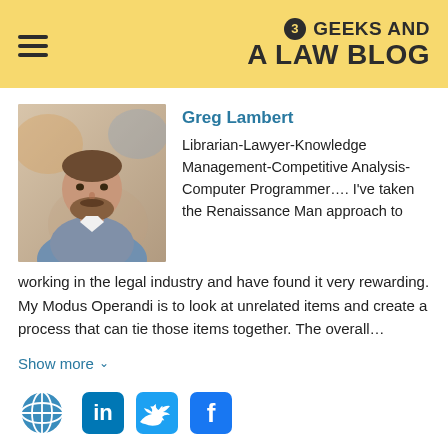3 GEEKS AND A LAW BLOG
[Figure (photo): Headshot photo of Greg Lambert, a man with a beard wearing a blue blazer]
Greg Lambert
Librarian-Lawyer-Knowledge Management-Competitive Analysis-Computer Programmer…. I've taken the Renaissance Man approach to working in the legal industry and have found it very rewarding. My Modus Operandi is to look at unrelated items and create a process that can tie those items together. The overall…
Show more ∨
[Figure (infographic): Social media icons row: globe/website icon, LinkedIn icon, Twitter icon, Facebook icon]